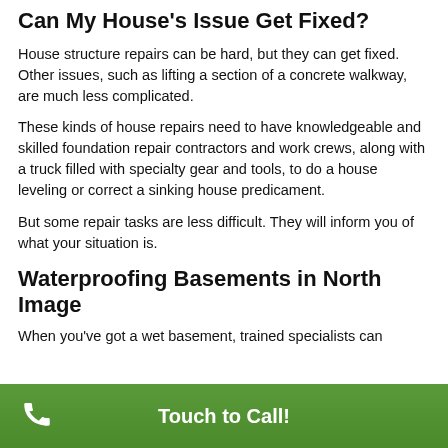Can My House's Issue Get Fixed?
House structure repairs can be hard, but they can get fixed. Other issues, such as lifting a section of a concrete walkway, are much less complicated.
These kinds of house repairs need to have knowledgeable and skilled foundation repair contractors and work crews, along with a truck filled with specialty gear and tools, to do a house leveling or correct a sinking house predicament.
But some repair tasks are less difficult. They will inform you of what your situation is.
Waterproofing Basements in North Image
When you've got a wet basement, trained specialists can
Touch to Call!